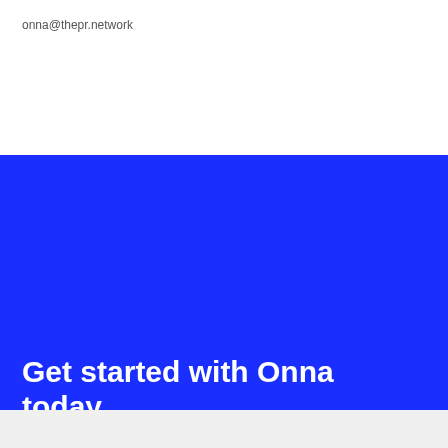onna@thepr.network
Get started with Onna today
Request a Demo
[Figure (logo): Onna logo in footer area with circular icon and text]